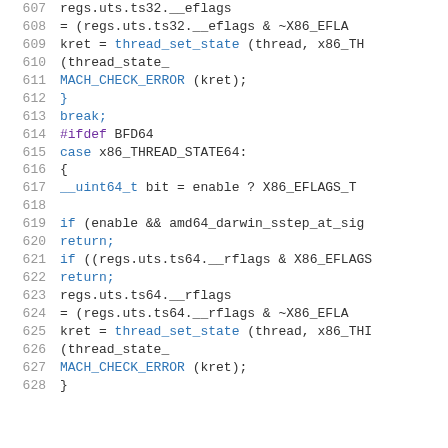[Figure (screenshot): Source code listing showing lines 607-628 of a C/C++ file with syntax highlighting. Code involves thread state manipulation for x86 architecture, including eflags/rflags register operations and MACH_CHECK_ERROR calls.]